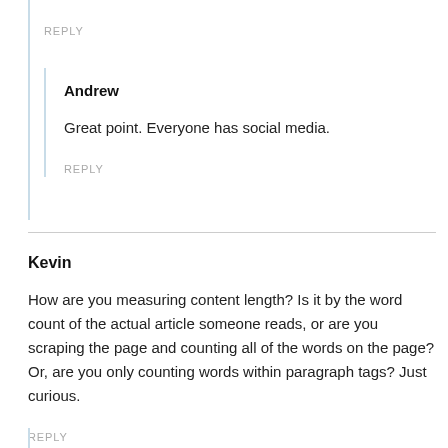REPLY
Andrew
Great point. Everyone has social media.
REPLY
Kevin
How are you measuring content length? Is it by the word count of the actual article someone reads, or are you scraping the page and counting all of the words on the page? Or, are you only counting words within paragraph tags? Just curious.
REPLY